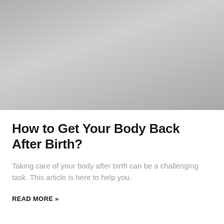[Figure (photo): Gray gradient placeholder image for article header photo]
How to Get Your Body Back After Birth?
Taking care of your body after birth can be a challenging task. This article is here to help you.
READ MORE »